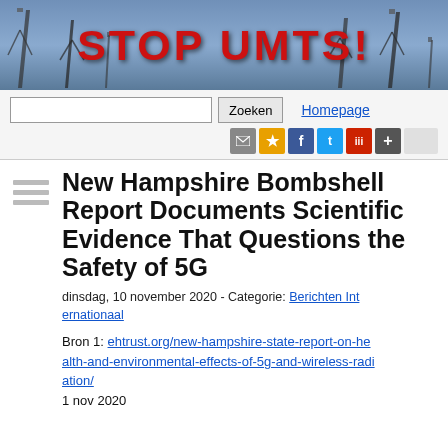[Figure (photo): Stop UMTS! website banner with cell towers silhouetted against a blue sky, large red bold text reading STOP UMTS!]
STOP UMTS! — website header with search box, Zoeken button, Homepage link, and social sharing icons
New Hampshire Bombshell Report Documents Scientific Evidence That Questions the Safety of 5G
dinsdag, 10 november 2020 - Categorie: Berichten Internationaal
Bron 1: ehtrust.org/new-hampshire-state-report-on-health-and-environmental-effects-of-5g-and-wireless-radiation/